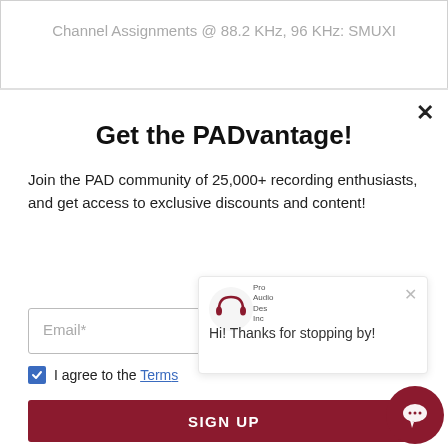Channel Assignments @ 88.2 KHz, 96 KHz: SMUXI
Get the PADvantage!
Join the PAD community of 25,000+ recording enthusiasts, and get access to exclusive discounts and content!
Email*
I agree to the Terms
SIGN UP
powered by MailMunch
Hi! Thanks for stopping by!